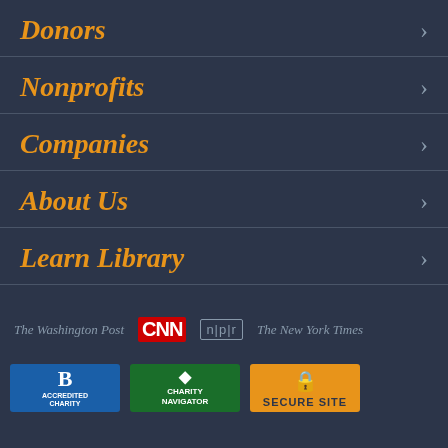Donors
Nonprofits
Companies
About Us
Learn Library
[Figure (logo): Media logos row: The Washington Post, CNN, npr, The New York Times]
[Figure (logo): Trust badges row: BBB Accredited Charity, Charity Navigator, Secure Site]